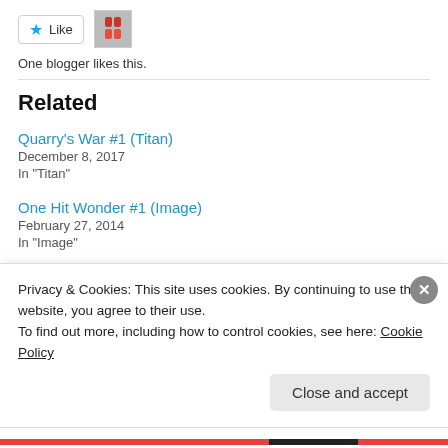[Figure (photo): Like button with star icon and a small avatar thumbnail image]
One blogger likes this.
Related
Quarry's War #1 (Titan)
December 8, 2017
In "Titan"
One Hit Wonder #1 (Image)
February 27, 2014
In "Image"
Peenland #1 (Titan)
Privacy & Cookies: This site uses cookies. By continuing to use this website, you agree to their use.
To find out more, including how to control cookies, see here: Cookie Policy
Close and accept